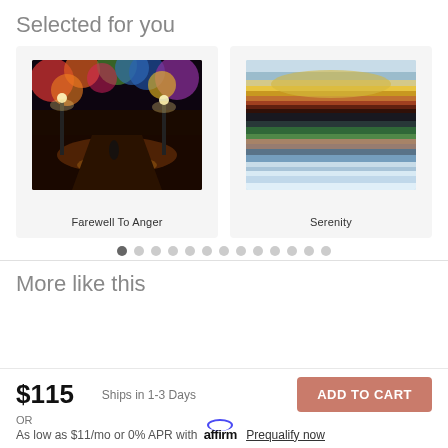Selected for you
[Figure (illustration): Painting of a rainy night alley with colorful autumn trees and street lamps reflecting on wet pavement, titled 'Farewell To Anger']
[Figure (illustration): Abstract landscape painting with horizontal bands of color resembling mountains and water reflection, titled 'Serenity']
Farewell To Anger
Serenity
● ○ ○ ○ ○ ○ ○ ○ ○ ○ ○ ○ ○
More like this
$115
Ships in 1-3 Days
ADD TO CART
OR
As low as $11/mo or 0% APR with affirm Prequalify now